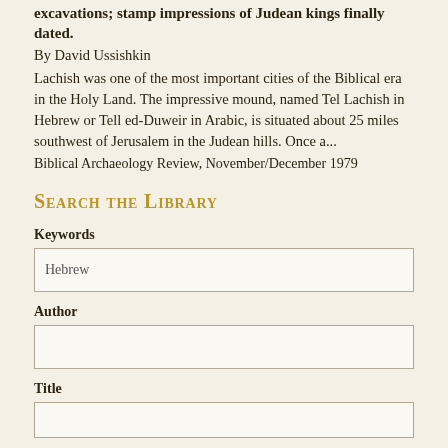excavations; stamp impressions of Judean kings finally dated.
By David Ussishkin
Lachish was one of the most important cities of the Biblical era in the Holy Land. The impressive mound, named Tel Lachish in Hebrew or Tell ed-Duweir in Arabic, is situated about 25 miles southwest of Jerusalem in the Judean hills. Once a...
Biblical Archaeology Review, November/December 1979
Search the Library
Keywords
Hebrew
Author
Title